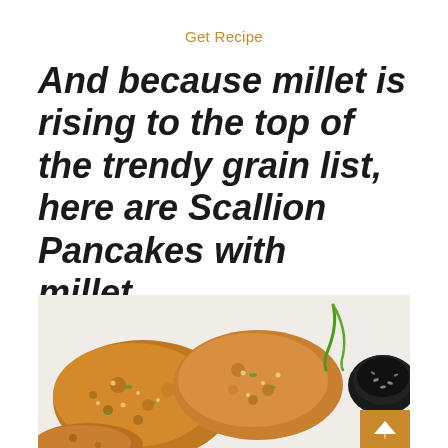Get Recipe
And because millet is rising to the top of the trendy grain list, here are Scallion Pancakes with millet...
[Figure (photo): Close-up photo of golden-brown crispy scallion millet pancakes on a white surface with green scallion garnish and a dark dipping sauce bowl in the top right corner. An orange arrow-up button appears in the bottom right corner.]